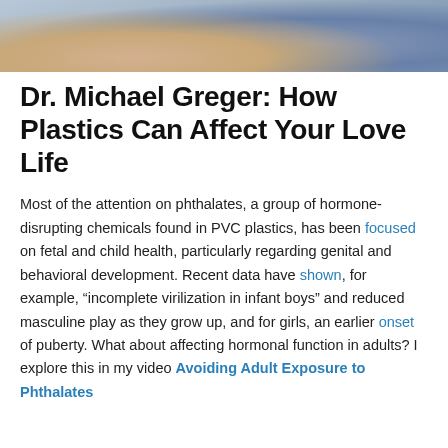[Figure (photo): Cropped photograph showing two people from waist down, one wearing white shorts/clothing, another in blue, background is light gray/blue.]
Dr. Michael Greger: How Plastics Can Affect Your Love Life
Most of the attention on phthalates, a group of hormone-disrupting chemicals found in PVC plastics, has been focused on fetal and child health, particularly regarding genital and behavioral development. Recent data have shown, for example, “incomplete virilization in infant boys” and reduced masculine play as they grow up, and for girls, an earlier onset of puberty. What about affecting hormonal function in adults? I explore this in my video Avoiding Adult Exposure to Phthalates